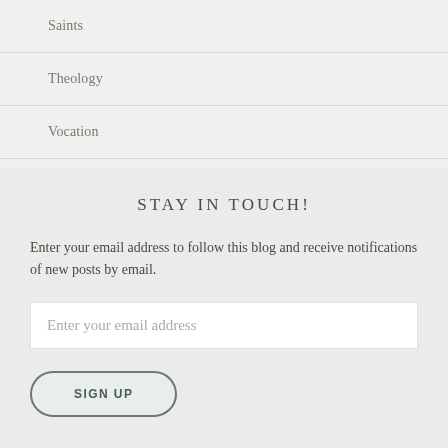Saints
Theology
Vocation
STAY IN TOUCH!
Enter your email address to follow this blog and receive notifications of new posts by email.
Enter your email address
SIGN UP